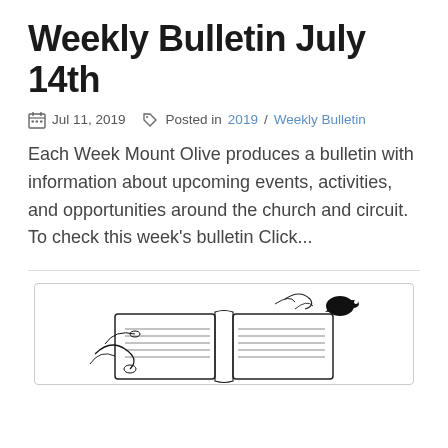Weekly Bulletin July 14th
Jul 11, 2019   Posted in 2019 / Weekly Bulletin
Each Week Mount Olive produces a bulletin with information about upcoming events, activities, and opportunities around the church and circuit. To check this week's bulletin Click...
[Figure (illustration): Black and white line art illustration of an open Bible with decorative floral/vine elements and a bird silhouette on the cover]